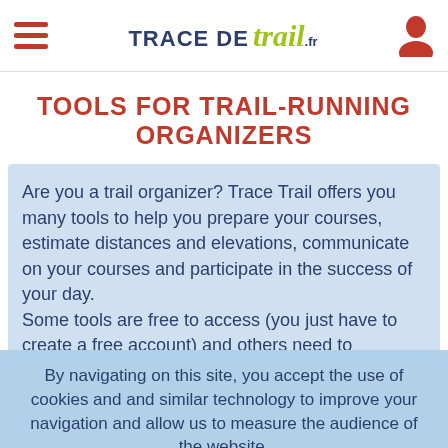TRACE DE trail.fr
Tools for Trail-Running Organizers
Are you a trail organizer? Trace Trail offers you many tools to help you prepare your courses, estimate distances and elevations, communicate on your courses and participate in the success of your day. Some tools are free to access (you just have to create a free account) and others need to subscribe to an annual
By navigating on this site, you accept the use of cookies and and similar technology to improve your navigation and allow us to measure the audience of the website.
ℹ We do not use cookies for advertising purposes.
En savoir plus... | J'accepte l'utilisation de ces cookies